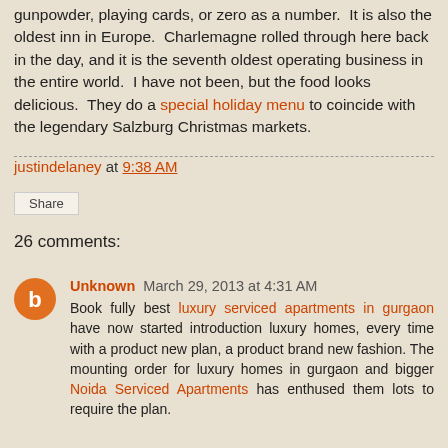gunpowder, playing cards, or zero as a number.  It is also the oldest inn in Europe.  Charlemagne rolled through here back in the day, and it is the seventh oldest operating business in the entire world.  I have not been, but the food looks delicious.  They do a special holiday menu to coincide with the legendary Salzburg Christmas markets.
justindelaney at 9:38 AM
Share
26 comments:
Unknown March 29, 2013 at 4:31 AM
Book fully best luxury serviced apartments in gurgaon have now started introduction luxury homes, every time with a product new plan, a product brand new fashion. The mounting order for luxury homes in gurgaon and bigger Noida Serviced Apartments has enthused them lots to require the plan.